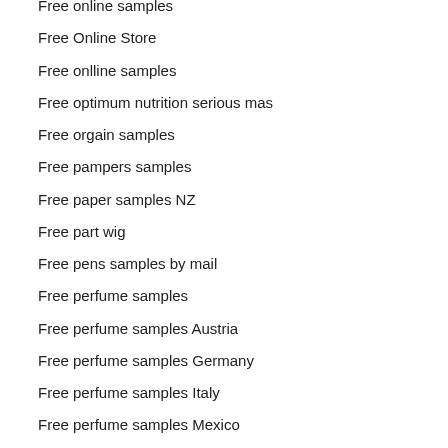Free online samples
Free Online Store
Free onlline samples
Free optimum nutrition serious mas
Free orgain samples
Free pampers samples
Free paper samples NZ
Free part wig
Free pens samples by mail
Free perfume samples
Free perfume samples Austria
Free perfume samples Germany
Free perfume samples Italy
Free perfume samples Mexico